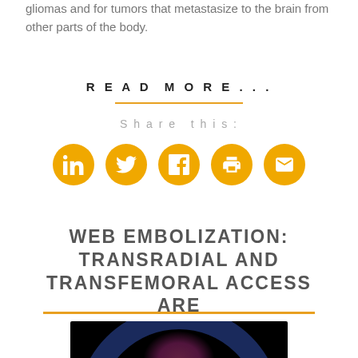gliomas and for tumors that metastasize to the brain from other parts of the body.
READ MORE...
Share this:
[Figure (other): Row of five golden circular social media icon buttons: LinkedIn, Twitter, Facebook, Print, Email]
WEB EMBOLIZATION: TRANSRADIAL AND TRANSFEMORAL ACCESS ARE COMPARABLY SAFE, EFFECTIVE
[Figure (photo): Dark brain scan image showing a circular cross-section of a brain with blue outer arc and pink/red illuminated center structures against a black background]